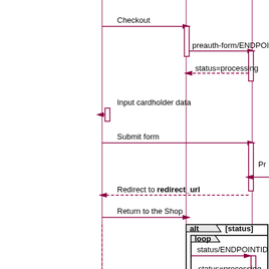[Figure (flowchart): UML sequence diagram showing a payment flow with actors communicating via arrows. Shows Checkout, preauth-form/ENDPOINTID, status=processing, Input cardholder data, Submit form, Redirect to redirect_url, Return to the Shop messages. Contains alt [status] fragment with loop sub-fragment showing status/ENDPOINTID and status=processing calls, and [callback] section with transaction processing and Callback notification.]